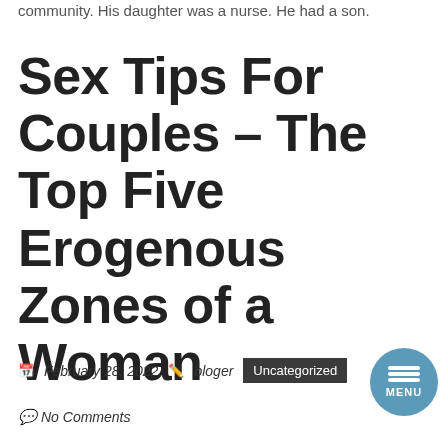community. His daughter was a nurse. He had a son.
Sex Tips For Couples – The Top Five Erogenous Zones of a Woman
February 28, 2022  bloger  Uncategorized  No Comments